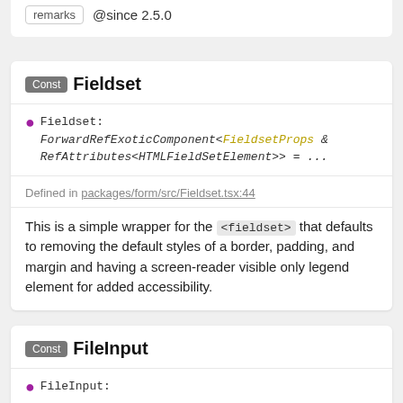remarks @since 2.5.0
Const Fieldset
Fieldset: ForwardRefExoticComponent<FieldsetProps & RefAttributes<HTMLFieldSetElement>> = ...
Defined in packages/form/src/Fieldset.tsx:44
This is a simple wrapper for the <fieldset> that defaults to removing the default styles of a border, padding, and margin and having a screen-reader visible only legend element for added accessibility.
Const FileInput
FileInput: